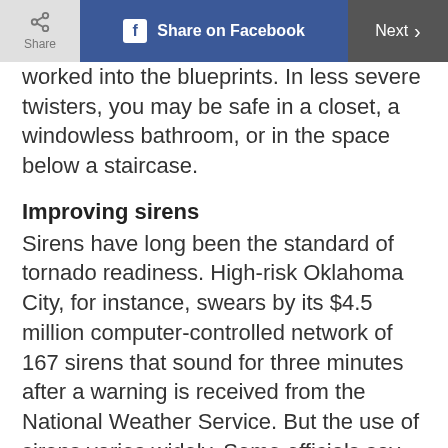Share | Share on Facebook | Next
worked into the blueprints. In less severe twisters, you may be safe in a closet, a windowless bathroom, or in the space below a staircase.
Improving sirens
Sirens have long been the standard of tornado readiness. High-risk Oklahoma City, for instance, swears by its $4.5 million computer-controlled network of 167 sirens that sound for three minutes after a warning is received from the National Weather Service. But the use of sirens varies widely. Some officials say sirens don't tell enough about the location or severity of the twister and that